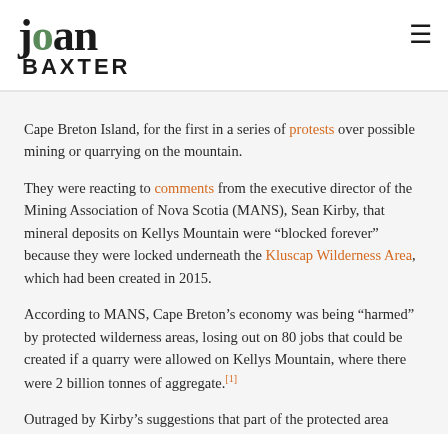joan BAXTER
Cape Breton Island, for the first in a series of protests over possible mining or quarrying on the mountain.
They were reacting to comments from the executive director of the Mining Association of Nova Scotia (MANS), Sean Kirby, that mineral deposits on Kellys Mountain were “blocked forever” because they were locked underneath the Kluscap Wilderness Area, which had been created in 2015.
According to MANS, Cape Breton’s economy was being “harmed” by protected wilderness areas, losing out on 80 jobs that could be created if a quarry were allowed on Kellys Mountain, where there were 2 billion tonnes of aggregate.[1]
Outraged by Kirby’s suggestions that part of the protected area could be swapped for another piece of land so that Kluscap Mountain could be opened up for quarrying, members of the First Nation organization, Reclaim Turtle Island, organized the